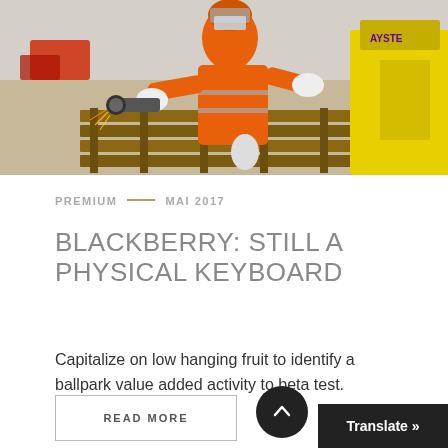[Figure (photo): Worker in orange safety suit and helmet working with angle grinder on wooden pallets in a warehouse, with a yellow Hyster forklift in background]
PREMIUM — MAI 2017
BLACKBERRY: STILL A PHYSICAL KEYBOARD
Capitalize on low hanging fruit to identify a ballpark value added activity to beta test. Override [...]
READ MORE
Translate »